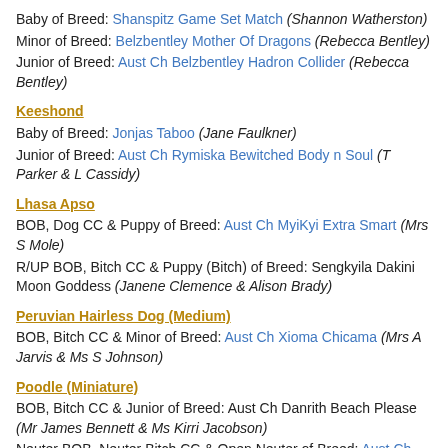Baby of Breed: Shanspitz Game Set Match (Shannon Watherston)
Minor of Breed: Belzbentley Mother Of Dragons (Rebecca Bentley)
Junior of Breed: Aust Ch Belzbentley Hadron Collider (Rebecca Bentley)
Keeshond
Baby of Breed: Jonjas Taboo (Jane Faulkner)
Junior of Breed: Aust Ch Rymiska Bewitched Body n Soul (T Parker & L Cassidy)
Lhasa Apso
BOB, Dog CC & Puppy of Breed: Aust Ch MyiKyi Extra Smart (Mrs S Mole)
R/UP BOB, Bitch CC & Puppy (Bitch) of Breed: Sengkyila Dakini Moon Goddess (Janene Clemence & Alison Brady)
Peruvian Hairless Dog (Medium)
BOB, Bitch CC & Minor of Breed: Aust Ch Xioma Chicama (Mrs A Jarvis & Ms S Johnson)
Poodle (Miniature)
BOB, Bitch CC & Junior of Breed: Aust Ch Danrith Beach Please (Mr James Bennett & Ms Kirri Jacobson)
Neuter BOB, Neuter Bitch CC & Open Neuter of Breed: Aust Ch Ziada Secret Voodoo Magic (Miss D Craig)
Poodle (Standard)
R/UP BOB, Dog Dog CC & Minor of Breed: Yuki Raising The Stakes (M...)